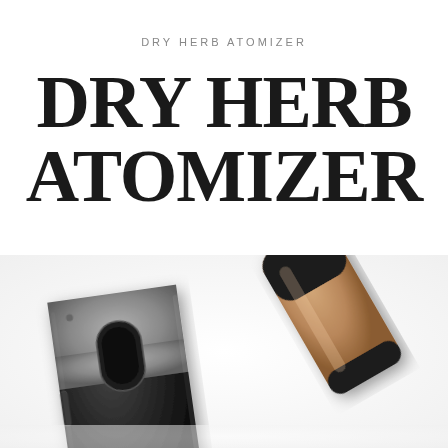DRY HERB ATOMIZER
DRY HERB ATOMIZER
[Figure (photo): Close-up product photo of two dry herb atomizer vaporizer devices. One device on the left shows the black body with silver/metallic top panel featuring a pill-shaped heating chamber opening. A second device on the right is shown at an angle in a bronze/gold and black colorway. Both are photographed against a white background.]